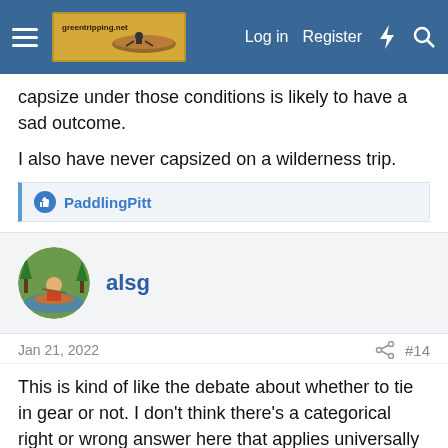Navigation bar with menu, logo, Log in, Register
capsize under those conditions is likely to have a sad outcome.
I also have never capsized on a wilderness trip.
👍 PaddlingPitt
alsg
Jan 21, 2022
#14
This is kind of like the debate about whether to tie in gear or not. I don't think there's a categorical right or wrong answer here that applies universally for every situation. It depends on the kind of water you are on. Not just lake and river but the kind of river and whether you are alone or not. I can see some situations where being attached to the canoe via rope and quick release harness is the only realistic self-rescue option and while dangerous still the lesser of two evils.